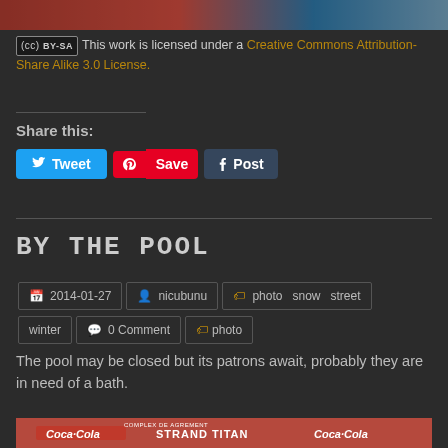[Figure (photo): Top portion of a photo with red and blue colors, partially visible at the top of the page]
This work is licensed under a Creative Commons Attribution-Share Alike 3.0 License.
Share this:
[Figure (infographic): Social share buttons: Tweet (Twitter blue), Save (Pinterest red), Post (Tumblr dark blue)]
BY THE POOL
2014-01-27  nicubunu  photo  snow  street  winter  0 Comment  photo
The pool may be closed but its patrons await, probably they are in need of a bath.
[Figure (photo): Bottom photo showing a red Coca-Cola billboard sign reading STRAND TITAN with Coca-Cola logos, snow-covered trees visible in background]